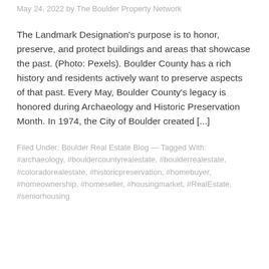May 24, 2022 by The Boulder Property Network
The Landmark Designation's purpose is to honor, preserve, and protect buildings and areas that showcase the past. (Photo: Pexels). Boulder County has a rich history and residents actively want to preserve aspects of that past. Every May, Boulder County's legacy is honored during Archaeology and Historic Preservation Month. In 1974, the City of Boulder created [...]
Filed Under: Boulder Real Estate Blog — Tagged With: #archaeology, #bouldercountyrealestate, #boulderrealestate, #coloradorealestate, #historicpreservation, #homebuyer, #homeownership, #homeseller, #housingmarket, #RealEstate, #seniorhousing